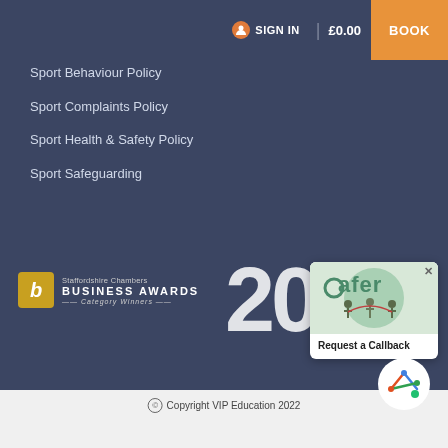SIGN IN | £0.00 | BOOK
Sport Behaviour Policy
Sport Complaints Policy
Sport Health & Safety Policy
Sport Safeguarding
[Figure (logo): Staffordshire Chambers Business Awards Category Winners logo with '20' large numeral]
[Figure (illustration): Safer popup card showing people figures with 'Request a Callback' text]
[Figure (logo): VIP Education circular logo with colorful arrow figures]
© Copyright VIP Education 2022